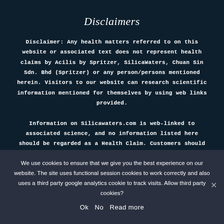Disclaimers
Disclaimer: Any health matters referred to on this website or associated text does not represent health claims by Acilis by Spritzer, SilicaWaters, Chuan Sin Sdn. Bhd (Spritzer) or any person/persons mentioned herein. Visitors to our website can research scientific information mentioned for themselves by using web links provided.
Information on Silicawaters.com is web-linked to associated science, and no information listed here should be regarded as a Health Claim. Customers should follow advice from their GP.
We use cookies to ensure that we give you the best experience on our website. The site uses functional session cookies to work correctly and also uses a third party google analytics cookie to track visits. Allow third party cookies?
Ok   No   Read more